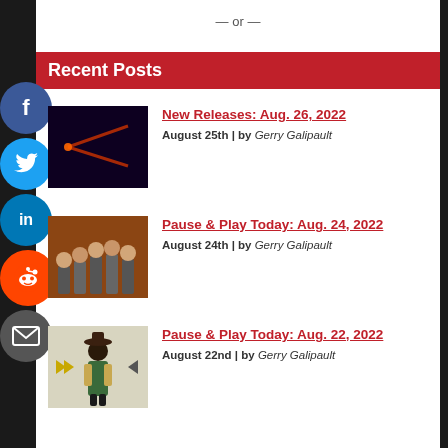— or —
Recent Posts
New Releases: Aug. 26, 2022
August 25th | by Gerry Galipault
Pause & Play Today: Aug. 24, 2022
August 24th | by Gerry Galipault
Pause & Play Today: Aug. 22, 2022
August 22nd | by Gerry Galipault